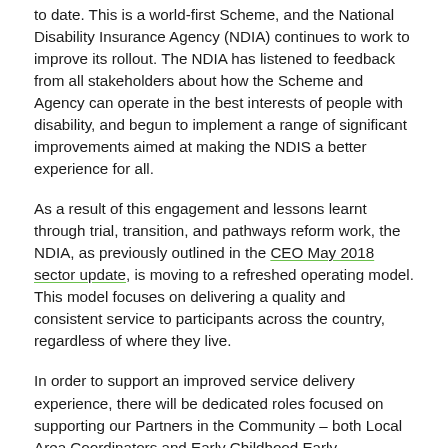to date. This is a world-first Scheme, and the National Disability Insurance Agency (NDIA) continues to work to improve its rollout. The NDIA has listened to feedback from all stakeholders about how the Scheme and Agency can operate in the best interests of people with disability, and begun to implement a range of significant improvements aimed at making the NDIS a better experience for all.
As a result of this engagement and lessons learnt through trial, transition, and pathways reform work, the NDIA, as previously outlined in the CEO May 2018 sector update, is moving to a refreshed operating model. This model focuses on delivering a quality and consistent service to participants across the country, regardless of where they live.
In order to support an improved service delivery experience, there will be dedicated roles focused on supporting our Partners in the Community – both Local Area Coordinators and Early Childhood Early Intervention, and dedicated specialised areas, including support for people with more complex needs.
The NDIA will continue to have a senior local presence in all states and territories. There will be a dedicated local leader in all states